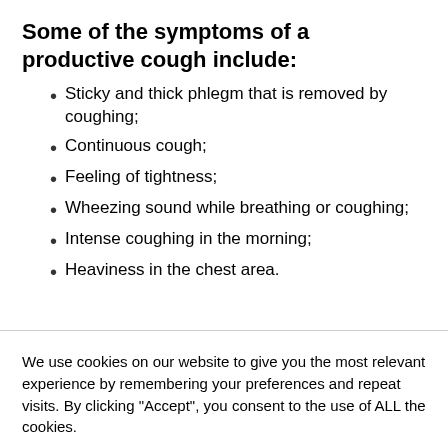Some of the symptoms of a productive cough include:
Sticky and thick phlegm that is removed by coughing;
Continuous cough;
Feeling of tightness;
Wheezing sound while breathing or coughing;
Intense coughing in the morning;
Heaviness in the chest area.
We use cookies on our website to give you the most relevant experience by remembering your preferences and repeat visits. By clicking “Accept”, you consent to the use of ALL the cookies.
Cookie settings | ACCEPT